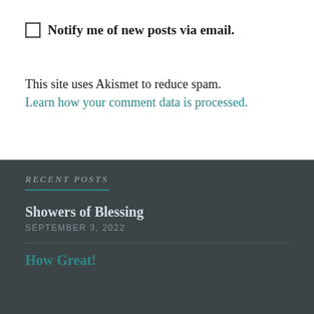Notify me of new posts via email.
This site uses Akismet to reduce spam. Learn how your comment data is processed.
RECENT POSTS
Showers of Blessing
SEPTEMBER 3, 2022
How Great!